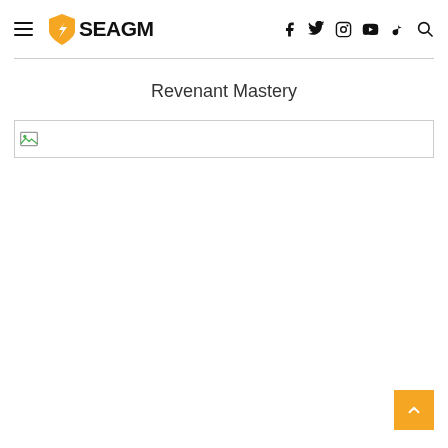SEAGM — Revenant Mastery
Revenant Mastery
[Figure (illustration): Broken image placeholder — a small icon indicating a missing or unloaded image, shown inside a bordered rectangle with a thin grey border.]
[Figure (other): Orange scroll-to-top button with white upward chevron arrow in bottom-right corner.]